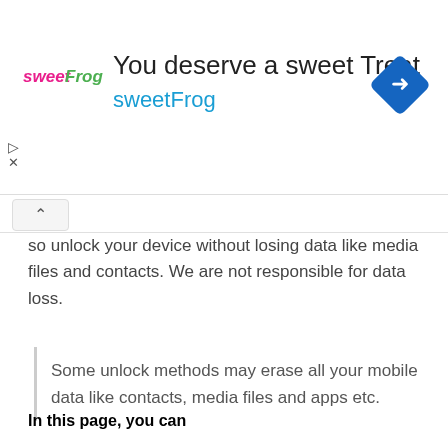[Figure (other): Advertisement banner for sweetFrog frozen yogurt. Contains sweetFrog logo text in pink/green, large headline 'You deserve a sweet Treat', brand name 'sweetFrog' in cyan, and a blue diamond-shaped navigation icon with a right-turn arrow. Play and close controls on the left.]
so unlock your device without losing data like media files and contacts. We are not responsible for data loss.
Some unlock methods may erase all your mobile data like contacts, media files and apps etc.
In this page, you can